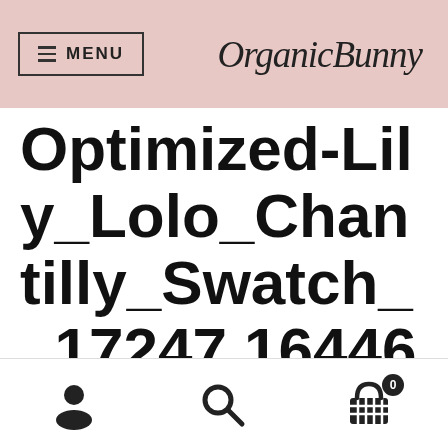MENU | OrganicBunny
Optimized-Lily_Lolo_Chantilly_Swatch__17247.1644616733
User icon | Search icon | Cart icon with badge 0